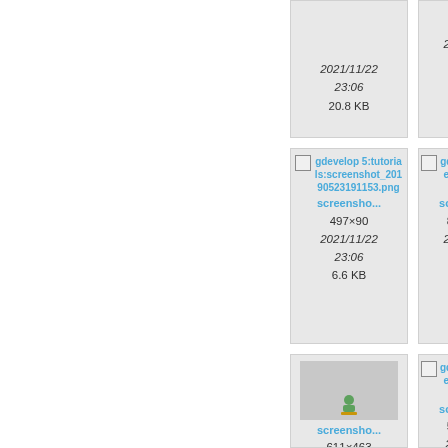[Figure (screenshot): File manager / media gallery grid showing image file thumbnails with filenames, dimensions, dates, and sizes. Left half of page is blank white. Right side shows a 2-column grid of file cards.]
20.8 KB
24
gdevelop 5:tutorials:screenshot_20190523191153.png screensho... 497×90 2021/11/22 23:06 6.6 KB
gd 5:tute creen 0190s 920 screen 847: 2021/ 23: 31
screensho... 611×463 2021/11/22
gd 5:tuto creen 0190s 924 screen 598: 2021